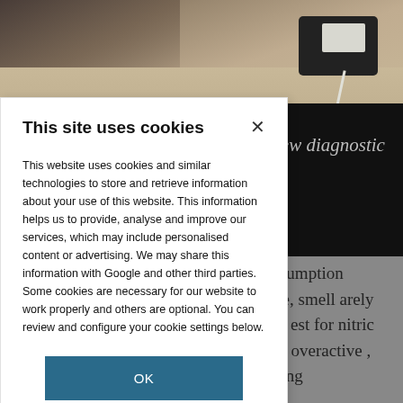[Figure (screenshot): Background photo of person with devices on a table, partially obscured by cookie consent dialog]
This site uses cookies
This website uses cookies and similar technologies to store and retrieve information about your use of this website. This information helps us to provide, analyse and improve our services, which may include personalised content or advertising. We may share this information with Google and other third parties. Some cookies are necessary for our website to work properly and others are optional. You can review and configure your cookie settings below.
OK
COOKIE SETTINGS
few diagnostic
ol consumption oadside, smell arely used in est for nitric ndicate overactive , reflecting